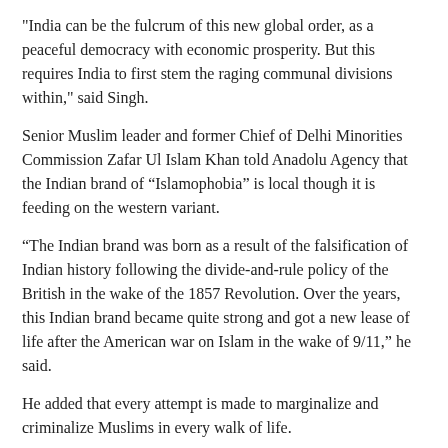"India can be the fulcrum of this new global order, as a peaceful democracy with economic prosperity. But this requires India to first stem the raging communal divisions within," said Singh.
Senior Muslim leader and former Chief of Delhi Minorities Commission Zafar Ul Islam Khan told Anadolu Agency that the Indian brand of “Islamophobia” is local though it is feeding on the western variant.
“The Indian brand was born as a result of the falsification of Indian history following the divide-and-rule policy of the British in the wake of the 1857 Revolution. Over the years, this Indian brand became quite strong and got a new lease of life after the American war on Islam in the wake of 9/11,” he said.
He added that every attempt is made to marginalize and criminalize Muslims in every walk of life.
"All this is taking place with its tacit approval and will continue at least until the next general elections in May 2024. Thereafter, it may subside for a little while only to be reactivated again before fresh state elections," said Khan.
"Recently, several provinces witnessed communal violence during the